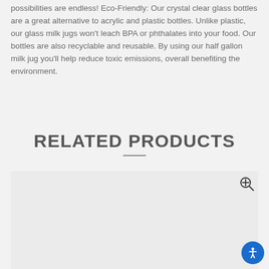possibilities are endless! Eco-Friendly: Our crystal clear glass bottles are a great alternative to acrylic and plastic bottles. Unlike plastic, our glass milk jugs won't leach BPA or phthalates into your food. Our bottles are also recyclable and reusable. By using our half gallon milk jug you'll help reduce toxic emissions, overall benefiting the environment.
RELATED PRODUCTS
[Figure (photo): Product image placeholder box with zoom icon in top right corner]